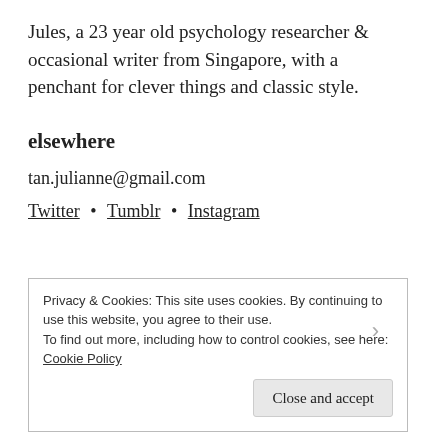Jules, a 23 year old psychology researcher & occasional writer from Singapore, with a penchant for clever things and classic style.
elsewhere
tan.julianne@gmail.com
Twitter • Tumblr • Instagram
Privacy & Cookies: This site uses cookies. By continuing to use this website, you agree to their use.
To find out more, including how to control cookies, see here: Cookie Policy
Close and accept